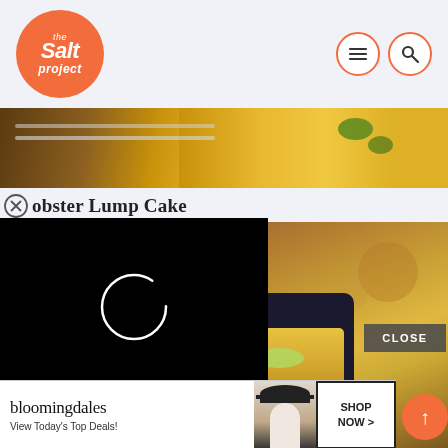[Figure (logo): The Salt Project logo — orange circle with white italic text 'the Salt project']
[Figure (photo): Navigation icons: hamburger menu and search, in coral-outlined circles on light background]
[Figure (photo): Top cropped food photo strip showing orange/yellow food in a tray with a green garnish]
Lobster Lump Cake
[Figure (photo): Black ad overlay with white loading spinner circle]
[Figure (photo): Main food photo showing dark blue/black pot with yellow-orange soup/stew topped with green garnish, ladle visible, warm bokeh background]
[Figure (other): CLOSE button overlay in dark semi-transparent rectangle]
[Figure (other): Bloomingdales advertisement banner: logo, 'View Today's Top Deals!', model photo, SHOP NOW > button]
[Figure (other): Scroll-to-top button: orange circle with upward arrow]